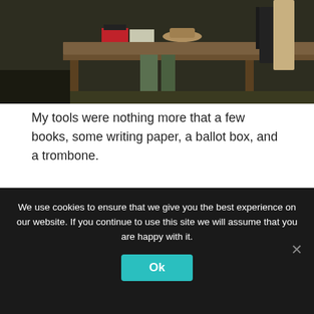[Figure (photo): Photo of a wooden table outdoors with books, hat, and chairs visible; people standing in background on gravel ground]
My tools were nothing more that a few books, some writing paper, a ballot box, and a trombone.
[Figure (photo): Photo of a drum kit set up outdoors on a rug, with green bushes and gravel in the background]
We use cookies to ensure that we give you the best experience on our website. If you continue to use this site we will assume that you are happy with it.